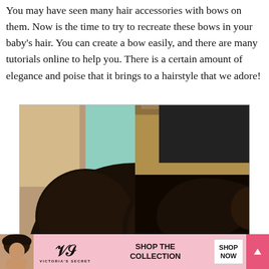You may have seen many hair accessories with bows on them. Now is the time to try to recreate these bows in your baby's hair. You can create a bow easily, and there are many tutorials online to help you. There is a certain amount of elegance and poise that it brings to a hairstyle that we adore!
[Figure (photo): Two side-by-side photos showing the back of a child's head with braided hair styled into bow shapes. Left photo shows two round bun-style bows with cornrow braids below. Right photo shows a bow made from hair with cornrow braids below. A salon setting is visible in the background of the right photo. A 'CLOSE' button appears in the lower right corner of the image area.]
[Figure (photo): Victoria's Secret advertisement banner at the bottom. Shows a woman with curly hair on the left, Victoria's Secret logo in center, 'SHOP THE COLLECTION' text, 'SHOP NOW' button, and a pink arrow button.]